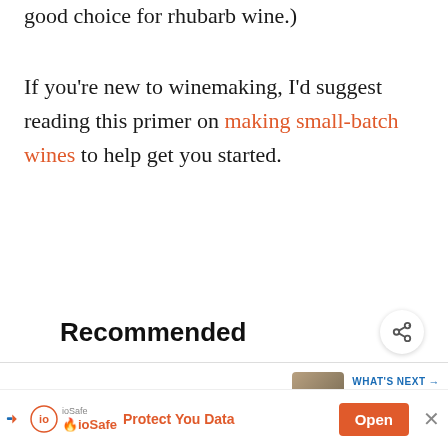good choice for rhubarb wine.)
If you’re new to winemaking, I’d suggest reading this primer on making small-batch wines to help get you started.
Recommended
WHAT’S NEXT → Dill Pickle Recipe for...
Blackberry Jam Recipe Without Pectin
ioSafe Protect You Data Open